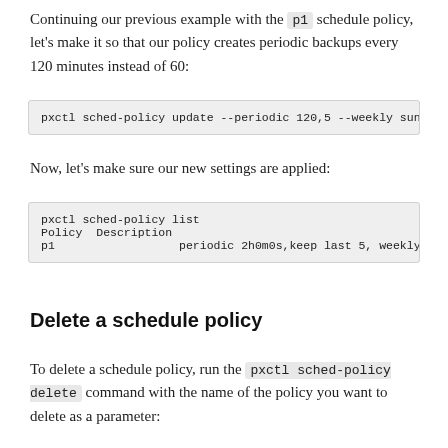Continuing our previous example with the p1 schedule policy, let's make it so that our policy creates periodic backups every 120 minutes instead of 60:
pxctl sched-policy update --periodic 120,5 --weekly sunday@12:00,4 p1
Now, let's make sure our new settings are applied:
pxctl sched-policy list
Policy  Description
p1              periodic 2h0m0s,keep last 5, weekly Sunday@12:00,keep l
Delete a schedule policy
To delete a schedule policy, run the pxctl sched-policy delete command with the name of the policy you want to delete as a parameter: